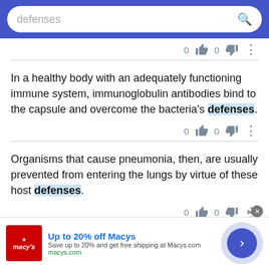[Figure (screenshot): Search bar with blue background and white rounded input field containing text 'defenses' with a search icon]
0  0  ⋮
In a healthy body with an adequately functioning immune system, immunoglobulin antibodies bind to the capsule and overcome the bacteria's defenses.
0  0  ⋮
Organisms that cause pneumonia, then, are usually prevented from entering the lungs by virtue of these host defenses.
0  0  ⋮
[Figure (screenshot): Advertisement banner: Up to 20% off Macys, Save up to 20% and get free shipping at Macys.com, macys.com]